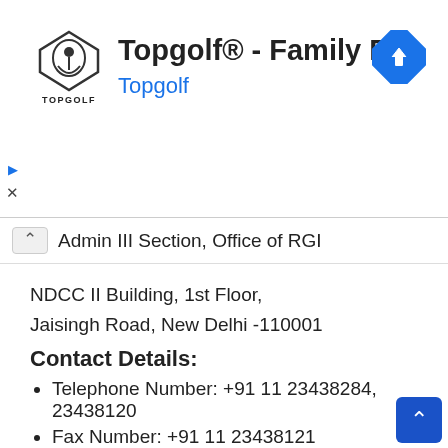[Figure (logo): Topgolf advertisement banner with logo and navigation icon]
Admin III Section, Office of RGI
NDCC II Building, 1st Floor,
Jaisingh Road, New Delhi -110001
Contact Details:
Telephone Number: +91 11 23438284, 23438120
Fax Number: +91 11 23438121
Email ID: rgi.rgi@nic.in
Important Dates –